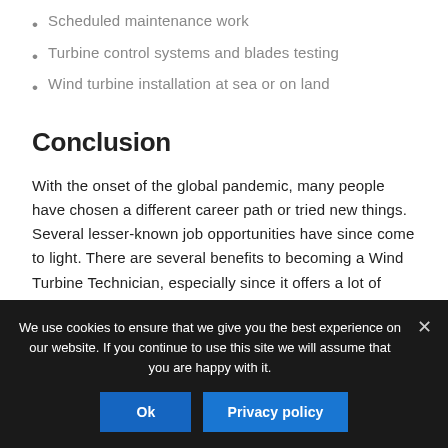Scheduled maintenance work
Turbine control systems and blades testing
Wind turbine installation at sea or on land
Conclusion
With the onset of the global pandemic, many people have chosen a different career path or tried new things. Several lesser-known job opportunities have since come to light. There are several benefits to becoming a Wind Turbine Technician, especially since it offers a lot of opportunities for growth and development.
We use cookies to ensure that we give you the best experience on our website. If you continue to use this site we will assume that you are happy with it.